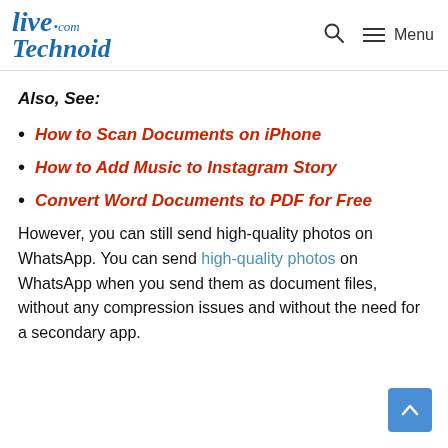LiveTechnoid.com — Menu
Also, See:
How to Scan Documents on iPhone
How to Add Music to Instagram Story
Convert Word Documents to PDF for Free
However, you can still send high-quality photos on WhatsApp. You can send high-quality photos on WhatsApp when you send them as document files, without any compression issues and without the need for a secondary app.